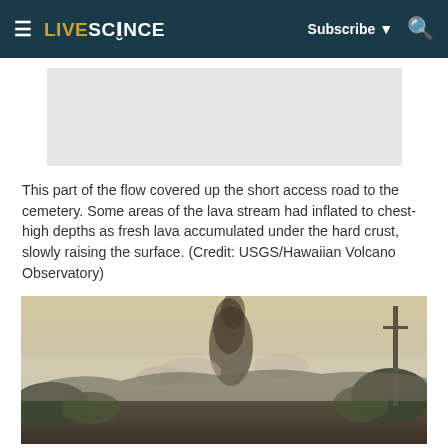LIVESCIENCE | Subscribe | Search
[Figure (photo): Gray advertisement placeholder box]
This part of the flow covered up the short access road to the cemetery. Some areas of the lava stream had inflated to chest-high depths as fresh lava accumulated under the hard crust, slowly raising the surface. (Credit: USGS/Hawaiian Volcano Observatory)
[Figure (photo): Outdoor scene showing smoke rising from a lava flow area with trees and a utility pole in the background, hazy sky]